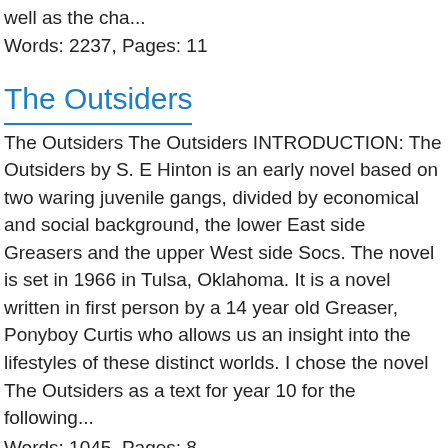well as the cha...
Words: 2237, Pages: 11
The Outsiders
The Outsiders The Outsiders INTRODUCTION: The Outsiders by S. E Hinton is an early novel based on two waring juvenile gangs, divided by economical and social background, the lower East side Greasers and the upper West side Socs. The novel is set in 1966 in Tulsa, Oklahoma. It is a novel written in first person by a 14 year old Greaser, Ponyboy Curtis who allows us an insight into the lifestyles of these distinct worlds. I chose the novel The Outsiders as a text for year 10 for the following...
Words: 1045, Pages: 8
The Glass Cieling
The Glass Cieling Word Count: 3122 The glass ceiling the...